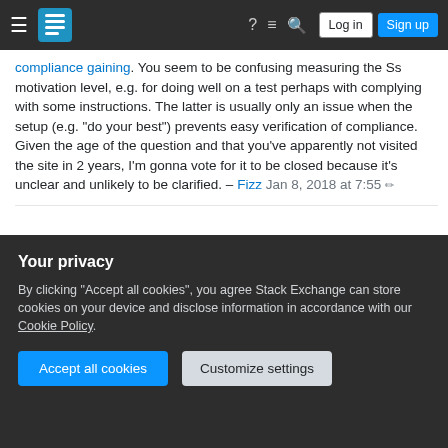Stack Exchange navigation bar with hamburger menu, logo, help, chat, search icons, Log in and Sign up buttons
compliance gaining. You seem to be confusing measuring the Ss motivation level, e.g. for doing well on a test perhaps with complying with some instructions. The latter is usually only an issue when the setup (e.g. "do your best") prevents easy verification of compliance. Given the age of the question and that you've apparently not visited the site in 2 years, I'm gonna vote for it to be closed because it's unclear and unlikely to be clarified. – Fizz Jan 8, 2018 at 7:55
Hi @Fizz, thanks for your response - I am fine with you closing the question as it is no longer relevant for me, and also not amenable to a single correct answer. For
Add a comment
Your privacy
By clicking "Accept all cookies", you agree Stack Exchange can store cookies on your device and disclose information in accordance with our Cookie Policy.
Accept all cookies
Customize settings